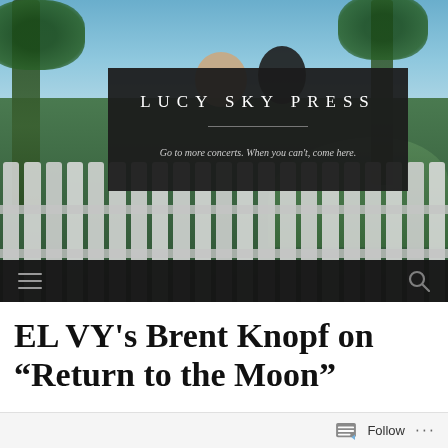[Figure (photo): Header photo of Lucy Sky Press website showing two people behind a white picket fence with palm trees and blue sky in background, overlaid with dark semi-transparent box containing site title and tagline]
LUCY SKY PRESS
Go to more concerts. When you can't, come here.
EL VY's Brent Knopf on “Return to the Moon”
Follow